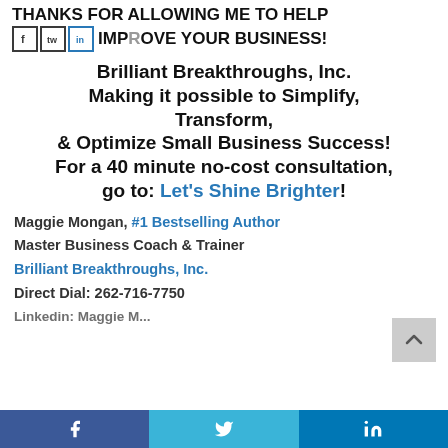THANKS FOR ALLOWING ME TO IMPROVE YOUR BUSINESS!
Brilliant Breakthroughs, Inc.
Making it possible to Simplify, Transform,
& Optimize Small Business Success!
For a 40 minute no-cost consultation, go to: Let's Shine Brighter!
Maggie Mongan, #1 Bestselling Author
Master Business Coach & Trainer
Brilliant Breakthroughs, Inc.
Direct Dial: 262-716-7750
f  Twitter  in